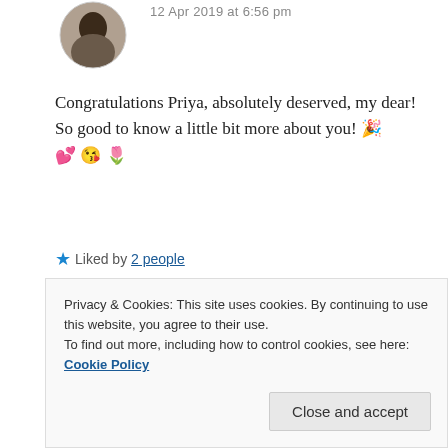[Figure (photo): Circular avatar photo of a person]
12 Apr 2019 at 6:56 pm
Congratulations Priya, absolutely deserved, my dear! So good to know a little bit more about you! 🎉 💕 😘 🌷
★ Liked by 2 people
REPLY
[Figure (photo): Circular avatar photo - brown tones]
ZEALOUS HOMO SAPIENS
Privacy & Cookies: This site uses cookies. By continuing to use this website, you agree to their use. To find out more, including how to control cookies, see here: Cookie Policy
Close and accept